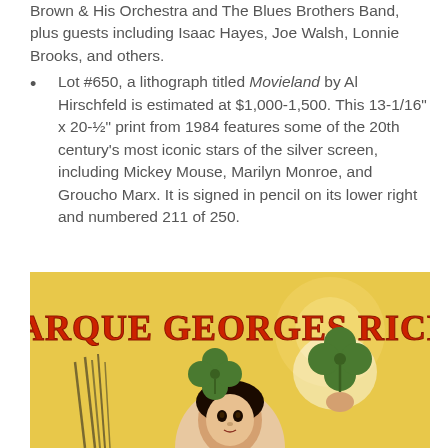Brown & His Orchestra and The Blues Brothers Band, plus guests including Isaac Hayes, Joe Walsh, Lonnie Brooks, and others.
Lot #650, a lithograph titled Movieland by Al Hirschfeld is estimated at $1,000-1,500. This 13-1/16" x 20-½" print from 1984 features some of the 20th century's most iconic stars of the silver screen, including Mickey Mouse, Marilyn Monroe, and Groucho Marx. It is signed in pencil on its lower right and numbered 211 of 250.
[Figure (illustration): Vintage advertising poster for La Marque Georges Richard featuring a woman with four-leaf clovers in her hair on a yellow background with large red decorative text reading 'LA MARQUE GEORGES RICHARD'.]